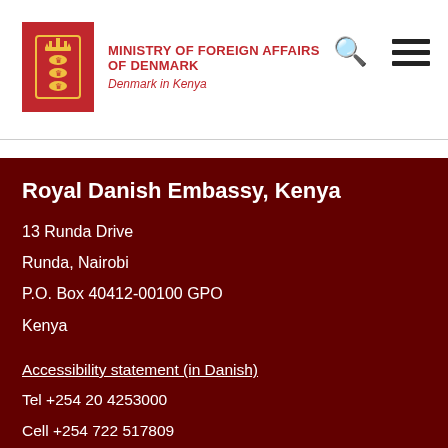MINISTRY OF FOREIGN AFFAIRS OF DENMARK — Denmark in Kenya
Royal Danish Embassy, Kenya
13 Runda Drive
Runda, Nairobi
P.O. Box 40412-00100 GPO
Kenya
Accessibility statement (in Danish)
Tel +254 20 4253000
Cell +254 722 517809